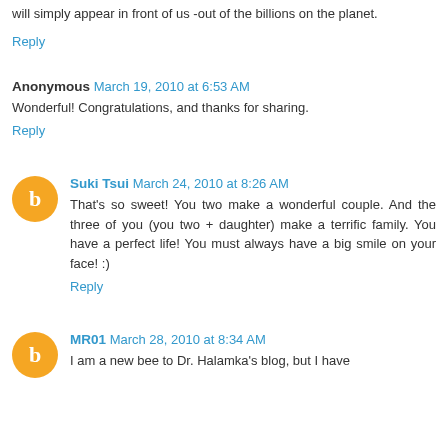will simply appear in front of us -out of the billions on the planet.
Reply
Anonymous March 19, 2010 at 6:53 AM
Wonderful! Congratulations, and thanks for sharing.
Reply
Suki Tsui March 24, 2010 at 8:26 AM
That's so sweet! You two make a wonderful couple. And the three of you (you two + daughter) make a terrific family. You have a perfect life! You must always have a big smile on your face! :)
Reply
MR01 March 28, 2010 at 8:34 AM
I am a new bee to Dr. Halamka's blog, but I have